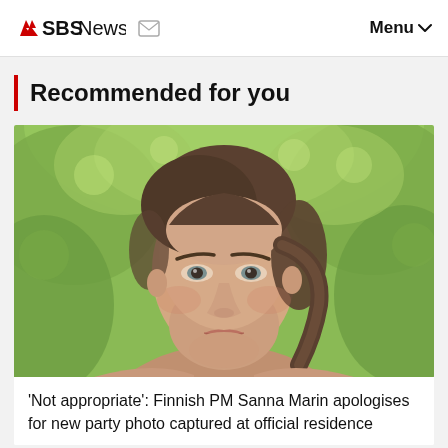SBS News   Menu
Recommended for you
[Figure (photo): Close-up portrait of a young woman with brown hair pulled back, looking seriously at the camera, with blurred green foliage in the background.]
'Not appropriate': Finnish PM Sanna Marin apologises for new party photo captured at official residence